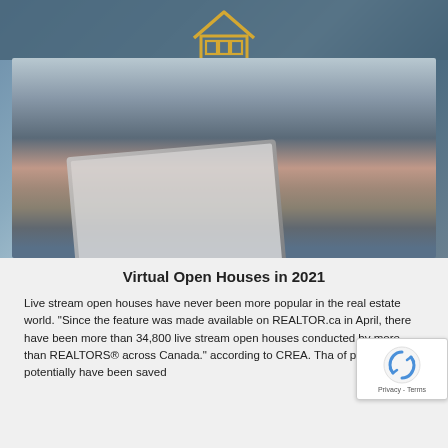[Figure (photo): A couple sitting together looking at a laptop computer. A golden house icon is overlaid at the top center of the photo. The top portion has a steel-blue/teal header bar.]
Virtual Open Houses in 2021
Live stream open houses have never been more popular in the real estate world. “Since the feature was made available on REALTOR.ca in April, there have been more than 34,800 live stream open houses conducted by more than REALTORS® across Canada.” according to CREA. Tha of people that potentially have been saved